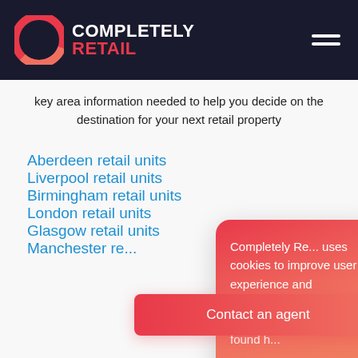[Figure (logo): Completely Retail logo with circular ring icon and white/red text on dark background]
key area information needed to help you decide on the destination for your next retail property
Aberdeen retail units
Liverpool retail units
Birmingham retail units
London retail units
Glasgow retail units
Manchester re...
Completely Re... uses cookies to improve user experience and performance. Our full cookie poli... can be found h...
I accept
I do not ac...
Contact an agent